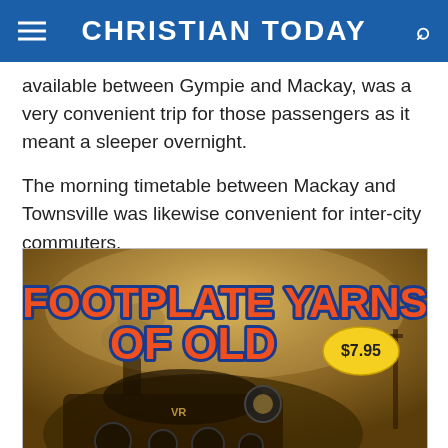CHRISTIAN TODAY
available between Gympie and Mackay, was a very convenient trip for those passengers as it meant a sleeper overnight.
The morning timetable between Mackay and Townsville was likewise convenient for inter-city commuters.
[Figure (photo): Book cover for 'Footplate Yarns of Old' showing a vintage steam locomotive in sepia tones. Title text in large red letters with blue outline. Price sticker showing $7.95 in yellow oval badge.]